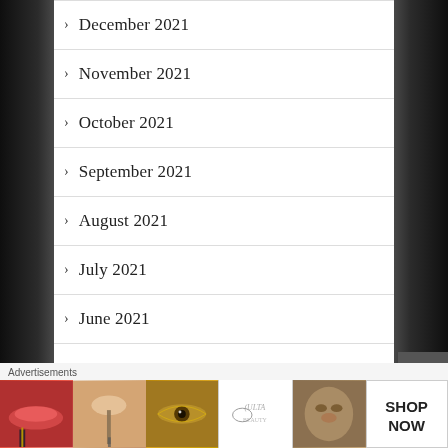December 2021
November 2021
October 2021
September 2021
August 2021
July 2021
June 2021
Advertisements
[Figure (photo): Ulta Beauty advertisement banner showing makeup products including lips, brush, eye, Ulta logo, face, and Shop Now button]